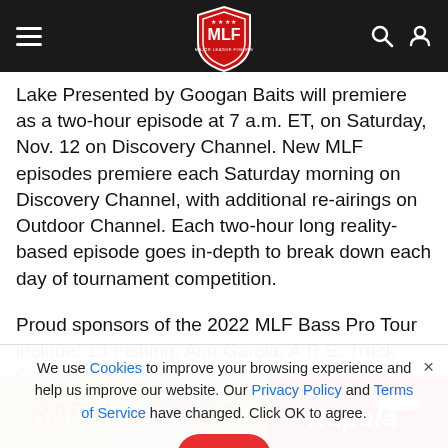MLF navigation bar with hamburger menu, MLF shield logo, search and account icons
Lake Presented by Googan Baits will premiere as a two-hour episode at 7 a.m. ET, on Saturday, Nov. 12 on Discovery Channel. New MLF episodes premiere each Saturday morning on Discovery Channel, with additional re-airings on Outdoor Channel. Each two-hour long reality-based episode goes in-depth to break down each day of tournament competition.
Proud sponsors of the 2022 MLF Bass Pro Tour include: 13 Fishing, Abu Garcia, A.R.E. Truck Caps, B&W Trailer Hitches,
We use Cookies to improve your browsing experience and help us improve our website. Our Privacy Policy and Terms of Service have changed. Click OK to agree.
[Figure (infographic): Rapala Balsa advertisement banner with red and wood-tone colors, showing RAPALA BALSA text on left and Rapala logo on red background right]